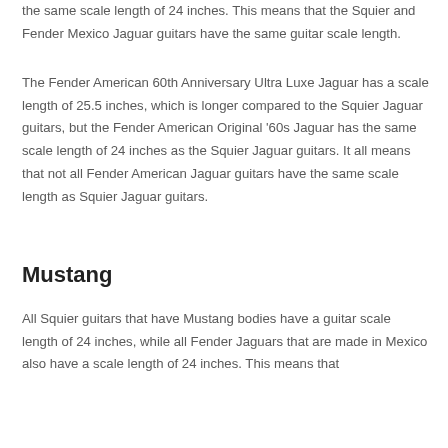the same scale length of 24 inches. This means that the Squier and Fender Mexico Jaguar guitars have the same guitar scale length.
The Fender American 60th Anniversary Ultra Luxe Jaguar has a scale length of 25.5 inches, which is longer compared to the Squier Jaguar guitars, but the Fender American Original '60s Jaguar has the same scale length of 24 inches as the Squier Jaguar guitars. It all means that not all Fender American Jaguar guitars have the same scale length as Squier Jaguar guitars.
Mustang
All Squier guitars that have Mustang bodies have a guitar scale length of 24 inches, while all Fender Jaguars that are made in Mexico also have a scale length of 24 inches. This means that